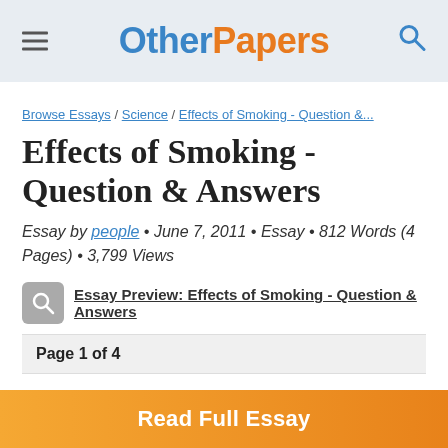OtherPapers
Browse Essays / Science / Effects of Smoking - Question &...
Effects of Smoking - Question & Answers
Essay by people • June 7, 2011 • Essay • 812 Words (4 Pages) • 3,799 Views
Essay Preview: Effects of Smoking - Question & Answers
Page 1 of 4
1. What main components in cigarettes affect the respiratory system?
Read Full Essay